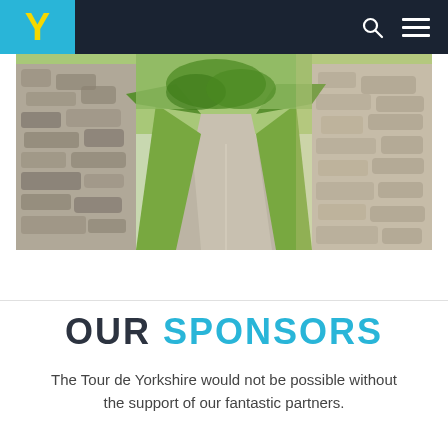Y [Tour de Yorkshire logo] — navigation bar with search and menu icons
[Figure (photo): A narrow country lane flanked by dry-stone walls with green vegetation, curving into the distance under a sunny sky.]
OUR SPONSORS
The Tour de Yorkshire would not be possible without the support of our fantastic partners.